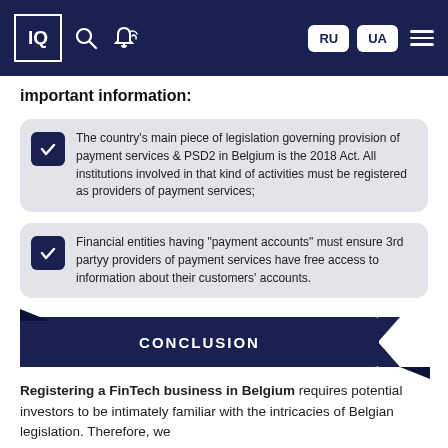IQ [navigation bar with logo, search, language buttons RU UA, and menu]
important information:
The country's main piece of legislation governing provision of payment services & PSD2 in Belgium is the 2018 Act. All institutions involved in that kind of activities must be registered as providers of payment services;
Financial entities having "payment accounts" must ensure 3rd partyy providers of payment services have free access to information about their customers' accounts.
CONCLUSION
Registering a FinTech business in Belgium requires potential investors to be intimately familiar with the intricacies of Belgian legislation. Therefore, we